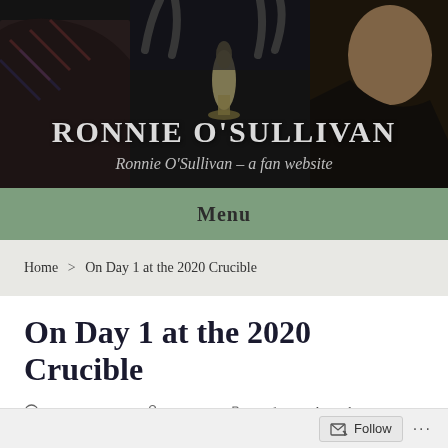[Figure (photo): Dark background photo of people, used as website header banner for Ronnie O'Sullivan fan website]
RONNIE O'SULLIVAN
Ronnie O'Sullivan – a fan website
Menu
Home > On Day 1 at the 2020 Crucible
On Day 1 at the 2020 Crucible
August 1, 2020   Monique   Professional snooker